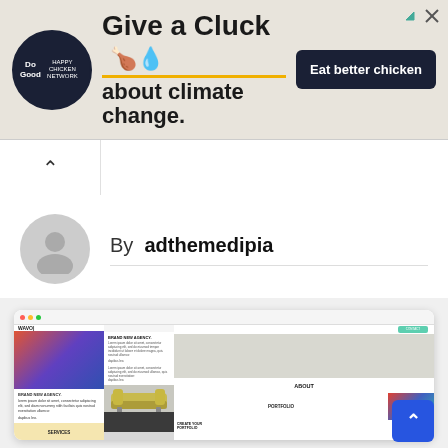[Figure (screenshot): Advertisement banner: 'Do Good' logo circle on left, large text 'Give a Cluck about climate change.' with orange underline, chicken/weather icons, dark button 'Eat better chicken' on right. Corner close/redirect icons top right.]
[Figure (screenshot): Author avatar (gray silhouette circle) with 'By adthemedipia' heading and horizontal rule]
By adthemedipia
[Figure (screenshot): Browser window screenshot of 'WAVO' website theme showing navigation, hero images (person in hood, ram), 'BRAND NEW AGENCY.', 'ABOUT', 'PORTFOLIO', 'SERVICES', 'CREATE YOUR PORTFOLIO' sections with colorful images]